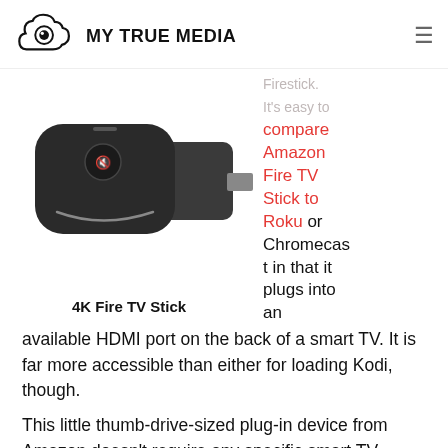MY TRUE MEDIA
[Figure (photo): Amazon 4K Fire TV Stick device hardware photo showing the remote and the HDMI stick]
4K Fire TV Stick
Firestick. It's easy to compare Amazon Fire TV Stick to Roku or Chromecast in that it plugs into an available HDMI port on the back of a smart TV. It is far more accessible than either for loading Kodi, though.
This little thumb-drive-sized plug-in device from Amazon doesn't require any specific smart TV manufacturer brand. It must be a modern smart TV with an available HDMI port, though.